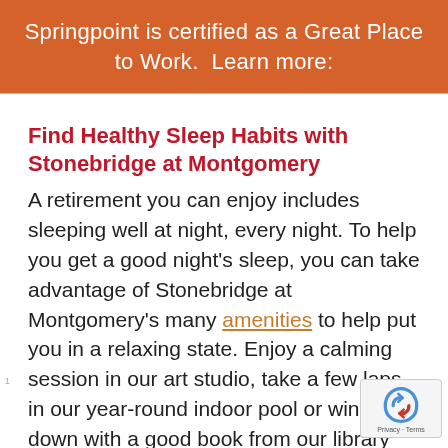Springpoint is certified as a Great Place to Work.  Learn more:
Find Healthy Sleep Habits with Stonebridge at Montgomery
A retirement you can enjoy includes sleeping well at night, every night. To help you get a good night's sleep, you can take advantage of Stonebridge at Montgomery's many amenities to help put you in a relaxing state. Enjoy a calming session in our art studio, take a few laps in our year-round indoor pool or wind down with a good book from our library (some of which were written by Stonebridge residents). You can also r...